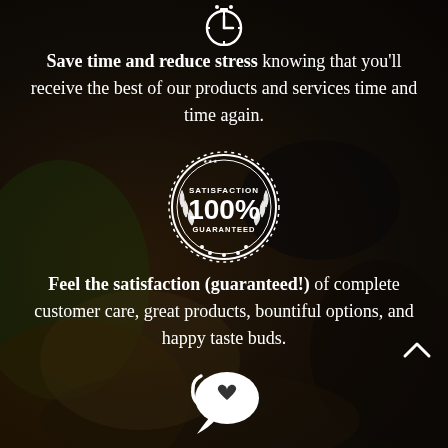[Figure (illustration): White clock/timer icon at top]
Save time and reduce stress knowing that you'll receive the best of our products and services time and time again.
[Figure (illustration): Satisfaction 100% Guaranteed badge/seal in white]
Feel the satisfaction (guaranteed!) of complete customer care, great products, bountiful options, and happy taste buds.
[Figure (illustration): White chat bubble with heart icon]
Have peace of mind by staying in touch with us. Have questions or concerns? No problem, we are here for you. Just contact us!